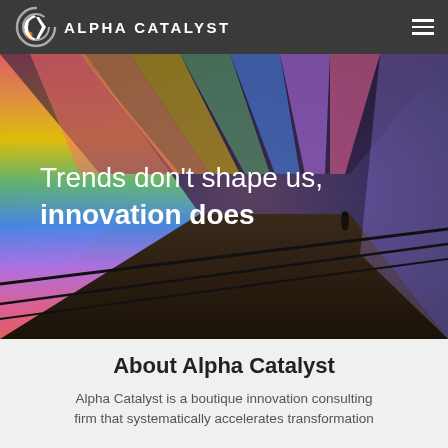ALPHA CATALYST
[Figure (illustration): Colorful illuminated tunnel corridor with rainbow LED strips on walls and ceiling, viewed in perspective with a silhouette of a person at the far end. Text overlay reads: Trends don't shape us, innovation does]
Trends don't shape us, innovation does
About Alpha Catalyst
Alpha Catalyst is a boutique innovation consulting firm that systematically accelerates transformation